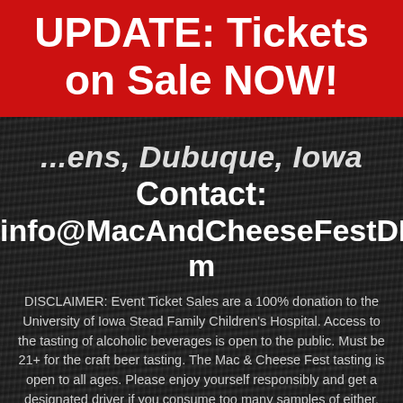UPDATE: Tickets on Sale NOW!
...ens, Dubuque, Iowa
Contact: info@MacAndCheeseFestDBQ.com
DISCLAIMER: Event Ticket Sales are a 100% donation to the University of Iowa Stead Family Children's Hospital. Access to the tasting of alcoholic beverages is open to the public. Must be 21+ for the craft beer tasting. The Mac & Cheese Fest tasting is open to all ages. Please enjoy yourself responsibly and get a designated driver if you consume too many samples of either.